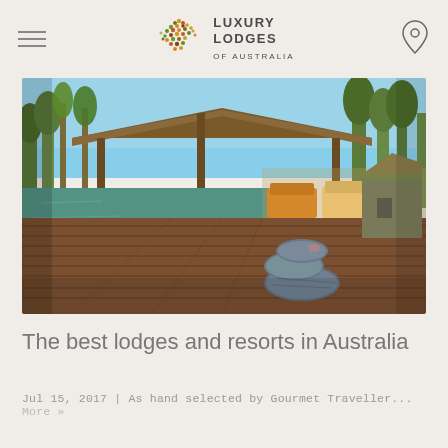LUXURY LODGES OF AUSTRALIA
[Figure (photo): Outdoor pool area with wooden deck, rolled towels in foreground, thatched roof shelter with seating in background, tropical trees and scrubland visible]
The best lodges and resorts in Australia
Jul 15, 2017 | As hand selected by Gourmet Traveller... More »